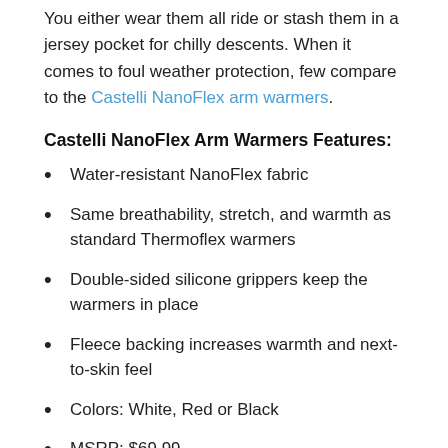You either wear them all ride or stash them in a jersey pocket for chilly descents. When it comes to foul weather protection, few compare to the Castelli NanoFlex arm warmers.
Castelli NanoFlex Arm Warmers Features:
Water-resistant NanoFlex fabric
Same breathability, stretch, and warmth as standard Thermoflex warmers
Double-sided silicone grippers keep the warmers in place
Fleece backing increases warmth and next-to-skin feel
Colors: White, Red or Black
MSRP: $69.99